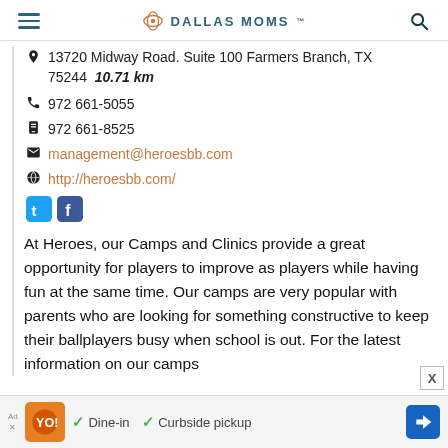DALLAS MOMS
13720 Midway Road. Suite 100 Farmers Branch, TX 75244  10.71 km
972 661-5055
972 661-8525
management@heroesbb.com
http://heroesbb.com/
At Heroes, our Camps and Clinics provide a great opportunity for players to improve as players while having fun at the same time. Our camps are very popular with parents who are looking for something constructive to keep their ballplayers busy when school is out. For the latest information on our camps
Dine-in   Curbside pickup